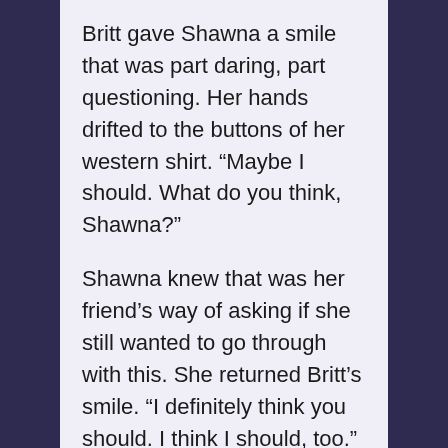Britt gave Shawna a smile that was part daring, part questioning. Her hands drifted to the buttons of her western shirt. “Maybe I should. What do you think, Shawna?”
Shawna knew that was her friend’s way of asking if she still wanted to go through with this. She returned Britt’s smile. “I definitely think you should. I think I should, too.”
Britt’s smile broadened. “Yippie ki yay, girlfriend.”